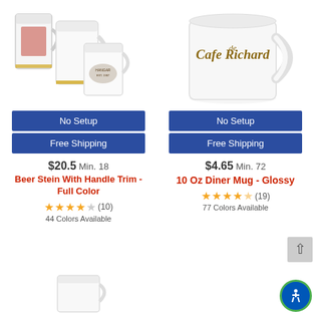[Figure (photo): Beer steins with handle trim, full color, showing three white ceramic beer steins of varying sizes with logo prints]
[Figure (photo): 10 Oz Diner Mug Glossy - white ceramic mug with Cafe Richard script logo in brown]
No Setup
Free Shipping
No Setup
Free Shipping
$20.5 Min. 18
$4.65 Min. 72
Beer Stein With Handle Trim - Full Color
10 Oz Diner Mug - Glossy
(10) 44 Colors Available
(19) 77 Colors Available
[Figure (photo): Partial view of a white mug at bottom of page]